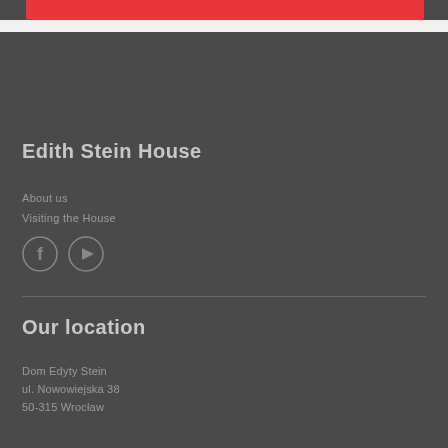[Figure (illustration): Red banner/bar at top of page on dark background]
Edith Stein House
About us
Visiting the House
[Figure (illustration): Facebook icon circle and YouTube icon circle social media buttons]
Our location
Dom Edyty Stein
ul. Nowowiejska 38
50-315 Wrocław